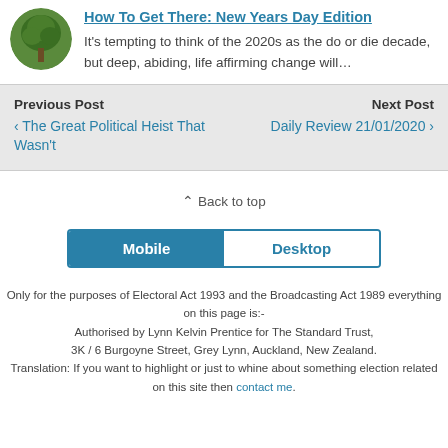[Figure (photo): Circular thumbnail photo of a green tree with a dark background]
How To Get There: New Years Day Edition
It's tempting to think of the 2020s as the do or die decade, but deep, abiding, life affirming change will…
Previous Post
‹ The Great Political Heist That Wasn't
Next Post
Daily Review 21/01/2020 ›
⌃ Back to top
Mobile   Desktop
Only for the purposes of Electoral Act 1993 and the Broadcasting Act 1989 everything on this page is:-
Authorised by Lynn Kelvin Prentice for The Standard Trust,
3K / 6 Burgoyne Street, Grey Lynn, Auckland, New Zealand.
Translation: If you want to highlight or just to whine about something election related on this site then contact me.